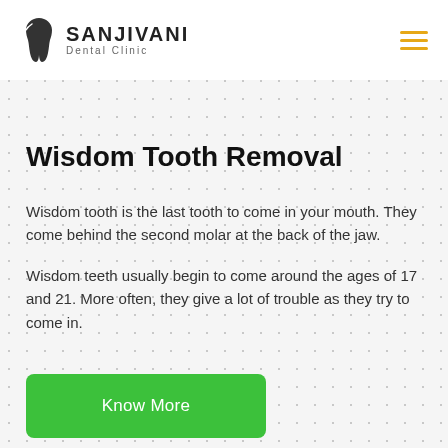Sanjivani Dental Clinic
Wisdom Tooth Removal
Wisdom tooth is the last tooth to come in your mouth. They come behind the second molar at the back of the jaw.
Wisdom teeth usually begin to come around the ages of 17 and 21. More often, they give a lot of trouble as they try to come in.
Know More